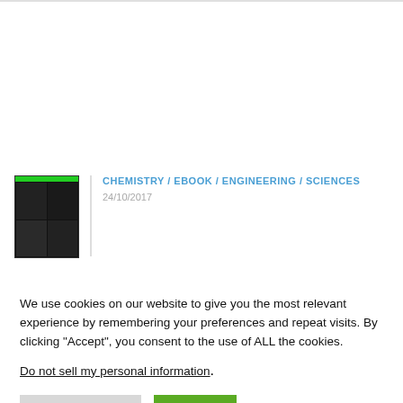[Figure (illustration): Book thumbnail with green bar on top and dark grid of 4 cells showing book cover images]
CHEMISTRY / EBOOK / ENGINEERING / SCIENCES
24/10/2017
We use cookies on our website to give you the most relevant experience by remembering your preferences and repeat visits. By clicking “Accept”, you consent to the use of ALL the cookies.
Do not sell my personal information.